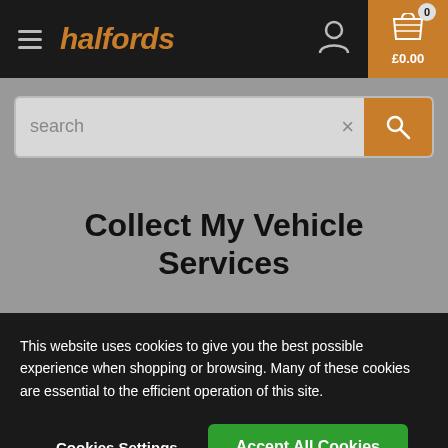halfords
[Figure (screenshot): Halfords website header with hamburger menu, logo, user icon, and basket showing £0.00 in an orange box]
[Figure (screenshot): Search bar with placeholder text 'search', an X icon, and an orange search button]
Collect My Vehicle Services
This website uses cookies to give you the best possible experience when shopping or browsing. Many of these cookies are essential to the efficient operation of this site.
Cookies Settings  Accept All Cookies